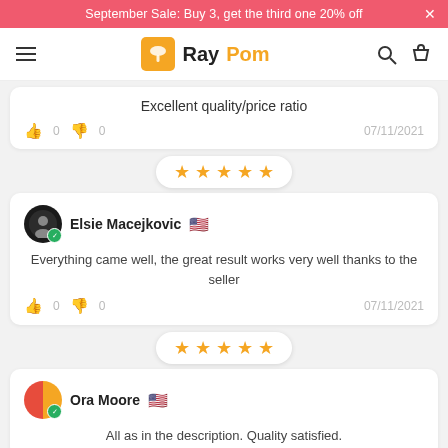September Sale: Buy 3, get the third one 20% off
[Figure (logo): RayPom logo with orange broom icon and nav icons]
Excellent quality/price ratio
👍 0  👎 0   07/11/2021
[Figure (other): 5 orange stars rating pill]
Elsie Macejkovic 🇺🇸
Everything came well, the great result works very well thanks to the seller
👍 0  👎 0   07/11/2021
[Figure (other): 5 orange stars rating pill]
Ora Moore 🇺🇸
All as in the description. Quality satisfied.